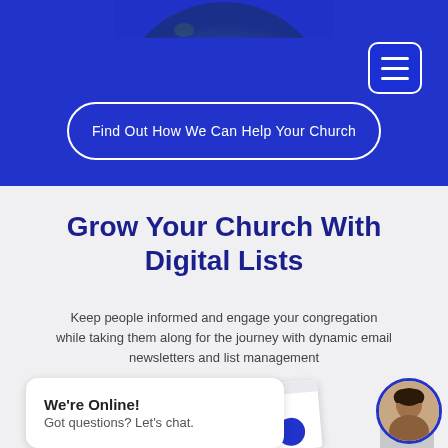[Figure (screenshot): Top portion of globe/earth image cropped at top of blue banner section]
[Figure (illustration): Hamburger menu button (three horizontal lines) with white border on blue background]
Find Out How We Can Help Your Church
Grow Your Church With Digital Lists
Keep people informed and engage your congregation while taking them along for the journey with dynamic email newsletters and list management
[Figure (illustration): Email newsletter mockup card, slightly rotated, showing a partial logo and blue circle element]
[Figure (illustration): Grey back-to-top button with upward chevron arrow]
We're Online!
Got questions? Let's chat.
[Figure (photo): Circular avatar photo of a woman (agent) with blue border ring]